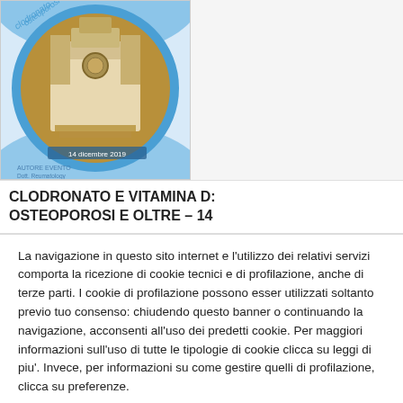[Figure (photo): Book/event cover image showing a circular photo of a baroque cathedral building (Ragusa/Modica style) with blue arc design elements, text 'clodronato osteoporosi', date '14 dicembre 2019' and author text at bottom left]
CLODRONATO E VITAMINA D: OSTEOPOROSI E OLTRE – 14
La navigazione in questo sito internet e l'utilizzo dei relativi servizi comporta la ricezione di cookie tecnici e di profilazione, anche di terze parti. I cookie di profilazione possono esser utilizzati soltanto previo tuo consenso: chiudendo questo banner o continuando la navigazione, acconsenti all'uso dei predetti cookie. Per maggiori informazioni sull'uso di tutte le tipologie di cookie clicca su leggi di piu'. Invece, per informazioni su come gestire quelli di profilazione, clicca su preferenze.
Preferenze
Accetta tutto
Leggi di piu